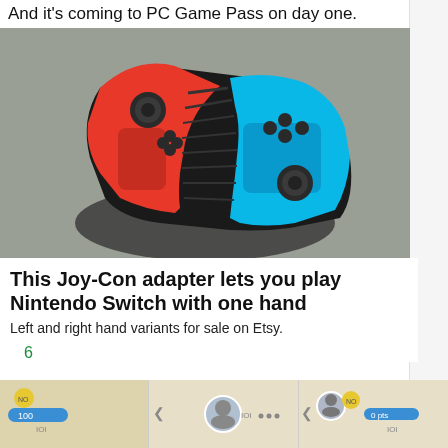And it's coming to PC Game Pass on day one.
[Figure (photo): Photo of Nintendo Switch Joy-Con controllers (red and blue) attached to a single Joy-Con adapter grip, held in a hand against a grey background.]
This Joy-Con adapter lets you play Nintendo Switch with one hand
Left and right hand variants for sale on Etsy.
6
[Figure (screenshot): Three thumbnail screenshots from a game showing a UI with player avatar icons, score 101, and progress bars on a light background.]